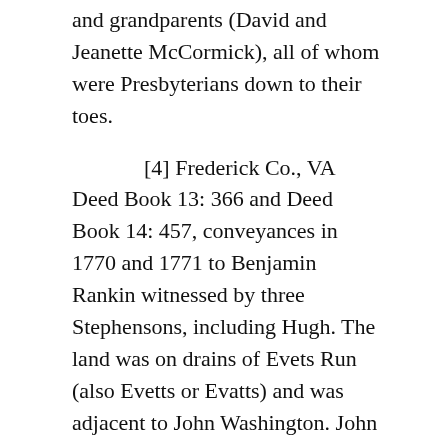and grandparents (David and Jeanette McCormick), all of whom were Presbyterians down to their toes.
[4] Frederick Co., VA Deed Book 13: 366 and Deed Book 14: 457, conveyances in 1770 and 1771 to Benjamin Rankin witnessed by three Stephensons, including Hugh. The land was on drains of Evets Run (also Evetts or Evatts) and was adjacent to John Washington. John Berry also had land on that creek, see Frederick Co., VA Deed Book 10: 180. William Davis, the grantor in the 1770/71 conveyances, wrote a will witnessed by his neighbors John Berry and Benjamin Rankin, see Berkeley Co., VA Will Book 1: 14. See also 1779 deed to Benjamin Rankin from a conveyance adjacent Col.